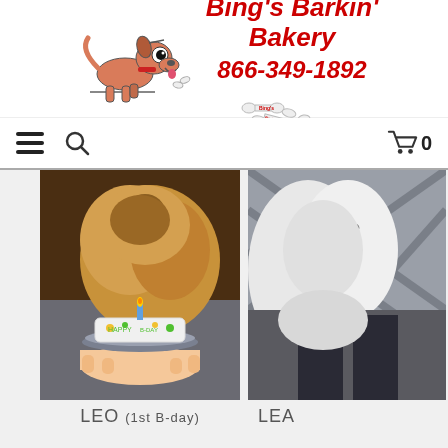[Figure (logo): Bing's Barkin' Bakery logo with cartoon dog and bone-shaped treats, plus text: Bing's Barkin' Bakery 866-349-1892]
[Figure (other): Navigation bar with hamburger menu, search icon, and shopping cart with 0 items]
[Figure (photo): Photo of a fluffy golden dog with a white birthday cake with a lit candle on a plate, labeled LEO (1st B-day)]
[Figure (photo): Partial photo of a white dog with a chain collar, labeled LEA]
LEO (1st B-day)
LEA